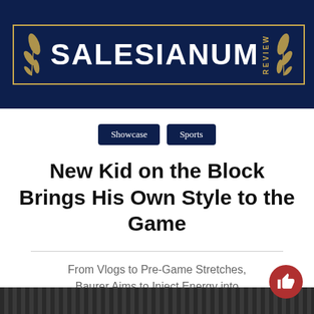SALESIANUM REVIEW
Showcase
Sports
New Kid on the Block Brings His Own Style to the Game
From Vlogs to Pre-Game Stretches, Baurer Aims to Inject Energy into Baseball